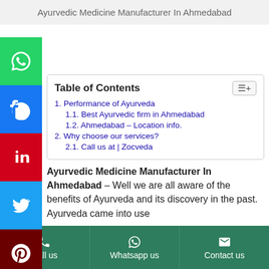Ayurvedic Medicine Manufacturer In Ahmedabad
[Figure (other): Social media sharing sidebar with WhatsApp, Facebook, LinkedIn, Twitter, and Pinterest buttons]
Table of Contents
1. Performance of Ayurveda
1.1. Best Ayurvedic firm in Ahmedabad
1.2. Ahmedabad – Location info.
2. Why choose our services?
2.1. Call us at | Zocveda
Ayurvedic Medicine Manufacturer In Ahmedabad – Well we are all aware of the benefits of Ayurveda and its discovery in the past. Ayurveda came into use after…
Call us | Whatsapp us | Contact us